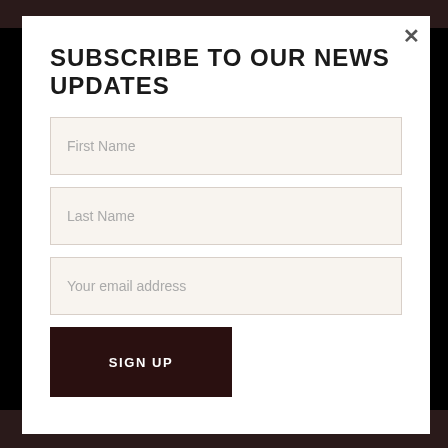SUBSCRIBE TO OUR NEWS UPDATES
First Name
Last Name
Your email address
SIGN UP